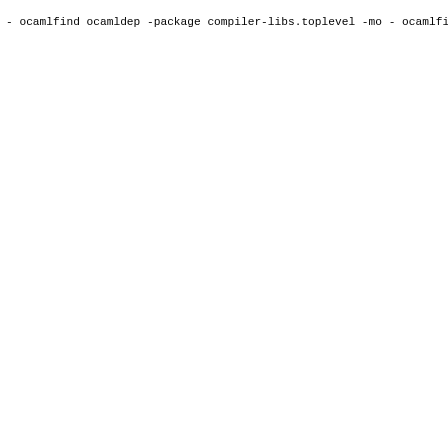- ocamlfind ocamldep -package compiler-libs.toplevel -mo
- ocamlfind ocamlc -c -g -bin-annot -safe-string -package
- + ocamlfind ocamlc -c -g -bin-annot -safe-string -packa
- findlib: [WARNING] Interface topdirs.cmi occurs in seve
- ocamlfind ocamlopt -c -g -bin-annot -safe-string -packa
- + ocamlfind ocamlopt -c -g -bin-annot -safe-string -pac
- findlib: [WARNING] Interface topdirs.cmi occurs in seve
- File "_none_", line 1:
- Warning 58: no cmx file was found in path for module To
- ocamlfind ocamlopt -a -package compiler-libs.toplevel -
- + ocamlfind ocamlopt -a -package compiler-libs.toplevel
- findlib: [WARNING] Interface topdirs.cmi occurs in seve
- ocamlfind ocamlopt -shared -linkall -package compiler-l
- + ocamlfind ocamlopt -shared -linkall -package compiler
- findlib: [WARNING] Interface topdirs.cmi occurs in seve
- ocamlfind ocamlc -a -package compiler-libs.toplevel -I
- + ocamlfind ocamlc -a -package compiler-libs.toplevel -
- findlib: [WARNING] Interface topdirs.cmi occurs in seve
- # No parallelism done
-> compiled  fmt.0.9.0
Processing 36/65: [dune: ocaml bootstrap.ml] [xmlm: ocaml
-> installed fmt.0.9.0
Processing 37/65: [dune: ocaml bootstrap.ml] [xmlm: ocaml
+ /home/opam/.opam/opam-init/hooks/sandbox.sh "build" "oc
- ocamlfind ocamldep -modules src/xmlm.ml > src/xmlm.ml.d
- ocamlfind ocamldep -modules src/xmlm.mli > src/xmlm.mli
- ocamlfind ocamlc -c -g -bin-annot -safe-string -I src -
- ocamlfind ocamlopt -c -g -bin-annot -safe-string -I src
- ocamlfind ocamlopt -a -I src src/xmlm.cmx -o src/xmlm.c
- ocamlfind ocamlopt -shared -linkall -I src src/xmlm.cmx
- ocamlfind ocamlc -c -g -bin-annot -safe-string -I src -